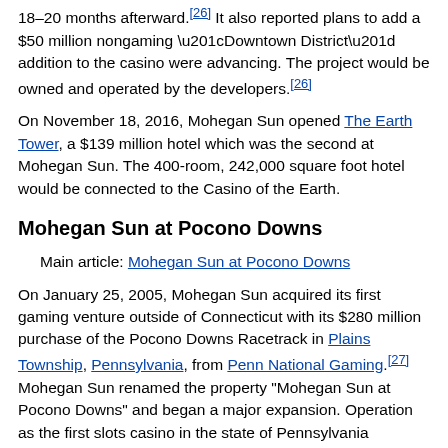18–20 months afterward.[26] It also reported plans to add a $50 million nongaming “Downtown District” addition to the casino were advancing. The project would be owned and operated by the developers.[26]
On November 18, 2016, Mohegan Sun opened The Earth Tower, a $139 million hotel which was the second at Mohegan Sun. The 400-room, 242,000 square foot hotel would be connected to the Casino of the Earth.
Mohegan Sun at Pocono Downs
Main article: Mohegan Sun at Pocono Downs
On January 25, 2005, Mohegan Sun acquired its first gaming venture outside of Connecticut with its $280 million purchase of the Pocono Downs Racetrack in Plains Township, Pennsylvania, from Penn National Gaming.[27] Mohegan Sun renamed the property "Mohegan Sun at Pocono Downs" and began a major expansion. Operation as the first slots casino in the state of Pennsylvania commenced in November 2006.
Plans for Mohegan Sun, Massachusetts